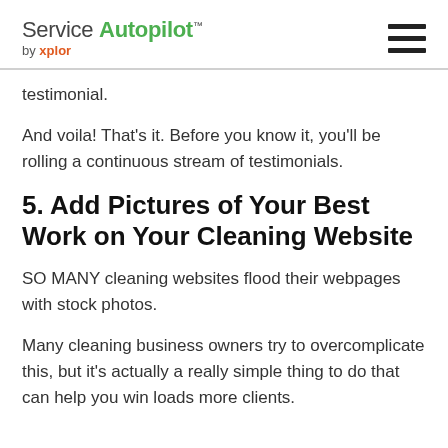Service Autopilot™ by xplor
testimonial.
And voila! That's it. Before you know it, you'll be rolling a continuous stream of testimonials.
5. Add Pictures of Your Best Work on Your Cleaning Website
SO MANY cleaning websites flood their webpages with stock photos.
Many cleaning business owners try to overcomplicate this, but it's actually a really simple thing to do that can help you win loads more clients.